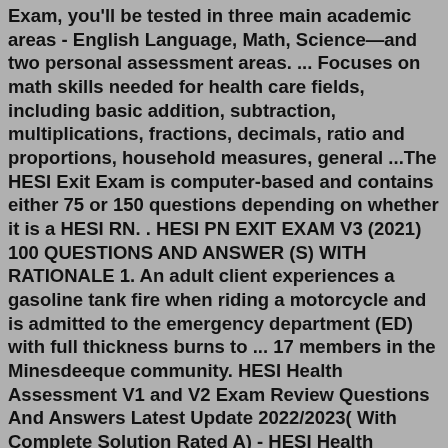Exam, you'll be tested in three main academic areas - English Language, Math, Science—and two personal assessment areas. ... Focuses on math skills needed for health care fields, including basic addition, subtraction, multiplications, fractions, decimals, ratio and proportions, household measures, general ...The HESI Exit Exam is computer-based and contains either 75 or 150 questions depending on whether it is a HESI RN. . HESI PN EXIT EXAM V3 (2021) 100 QUESTIONS AND ANSWER (S) WITH RATIONALE 1. An adult client experiences a gasoline tank fire when riding a motorcycle and is admitted to the emergency department (ED) with full thickness burns to ... 17 members in the Minesdeeque community. HESI Health Assessment V1 and V2 Exam Review Questions And Answers Latest Update 2022/2023( With Complete Solution Rated A) - HESI Health Assessment V1 and V2The diaphragm: 15. Before auscultating the abdomen for the presence of bowel sounds on a patient, the nurse should: 16. While measuring a patient's blood pressure, the nurse